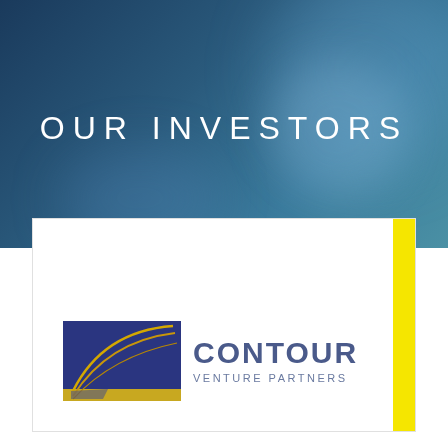OUR INVESTORS
[Figure (logo): Contour Venture Partners logo — dark blue square icon with curved gold lines, followed by 'CONTOUR' in large blue-gray text and 'VENTURE PARTNERS' in smaller spaced blue-gray text]